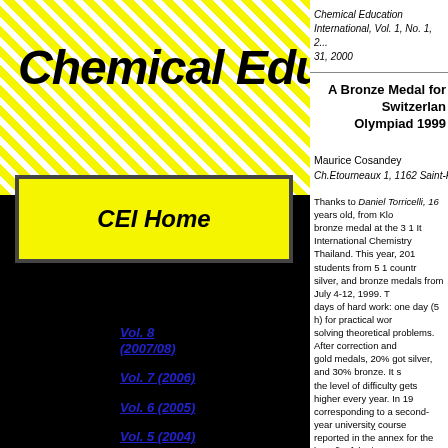[Figure (logo): Chemical Education International banner with yellow diagonal stripes and bold italic title text]
CEI Home
Chemical Education International, Vol. 1, No. 1, 2... 31, 2000
A Bronze Medal for Switzerland... Olympiad 1999...
Maurice Cosandey
Ch.Etourneaux 1, 1162 Saint-Prex , Switzerland
Thanks to Daniel Torricelli, 16 years old, from Klo... bronze medal at the 3 1 It International Chemistry... Thailand. This year, 201 students from 5 1 countr... silver, and bronze medals from July 4-12, 1999. T... days of hard work: one day (5 h) for practical wor... solving theoretical problems. After correction and... gold medals, 20% got silver, and 30% bronze. It s... the level of difficulty gets higher every year. In 19... corresponding to a second-year university course... reported in the annex for the benefit of the interes...
Vol. 8 (2007/08)
Vol. 7 (2006)
Vol. 6 (2005)
Vol. 5 (2004)
Vol. 4 (2003)
Vol. 3 (2002)